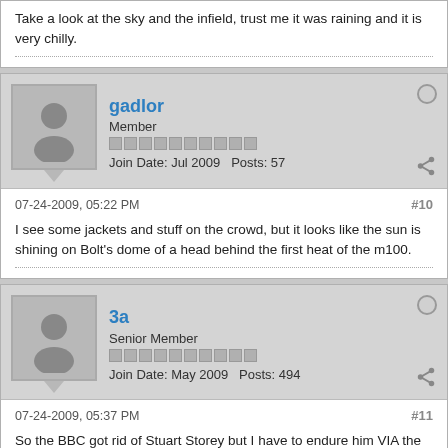Take a look at the sky and the infield, trust me it was raining and it is very chilly.
gadlor
Member
Join Date: Jul 2009    Posts: 57
07-24-2009, 05:22 PM
#10
I see some jackets and stuff on the crowd, but it looks like the sun is shining on Bolt's dome of a head behind the first heat of the m100.
3a
Senior Member
Join Date: May 2009    Posts: 494
07-24-2009, 05:37 PM
#11
So the BBC got rid of Stuart Storey but I have to endure him VIA the